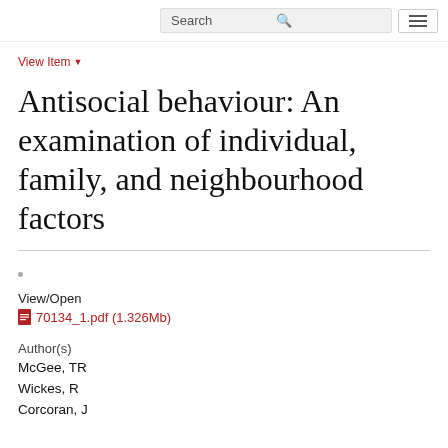Search [search icon] [menu icon]
View Item ▼
Antisocial behaviour: An examination of individual, family, and neighbourhood factors
View/Open
70134_1.pdf (1.326Mb)
Author(s)
McGee, TR
Wickes, R
Corcoran, J